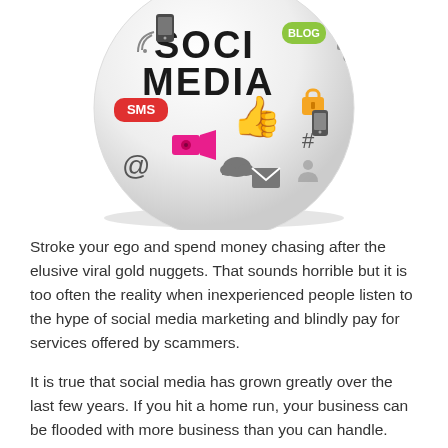[Figure (illustration): A 3D sphere decorated with social media icons and text including 'SOCIAL MEDIA' in large bold letters, 'BLOG' in a green badge, 'SMS' in a red badge, a green thumbs up icon, an orange padlock, a pink video camera, cloud icons, @ symbol, hashtag, mobile phone, and other social media related icons.]
Stroke your ego and spend money chasing after the elusive viral gold nuggets. That sounds horrible but it is too often the reality when inexperienced people listen to the hype of social media marketing and blindly pay for services offered by scammers.
It is true that social media has grown greatly over the last few years. If you hit a home run, your business can be flooded with more business than you can handle.